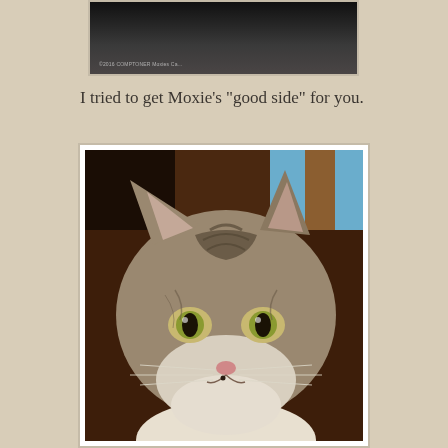[Figure (photo): Partial photo of a dark cat from above, with a small copyright watermark reading '©2016 COMPTONER Moxies...' in the lower left corner]
I tried to get Moxie's "good side" for you.
[Figure (photo): Close-up portrait photo of a tabby cat named Moxie facing the camera with large greenish-yellow eyes, white and brown striped fur, pink nose, and long whiskers. Dark wooden furniture visible in background.]